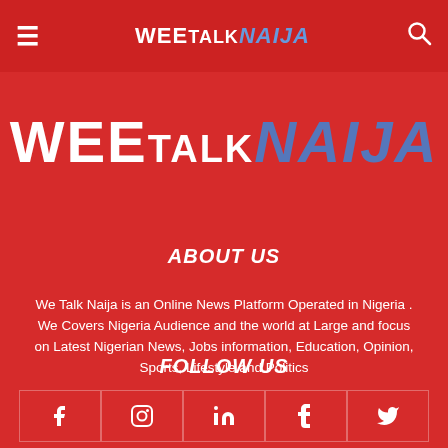WeeTalkNaija - navigation bar with hamburger menu, logo, and search icon
[Figure (logo): WeeTalkNaija logo - large text with WEE in white, TALK in smaller white, NAIJA in blue italic]
ABOUT US
We Talk Naija is an Online News Platform Operated in Nigeria . We Covers Nigeria Audience and the world at Large and focus on Latest Nigerian News, Jobs information, Education, Opinion, Sports, Lifestyle and Politics
FOLLOW US
[Figure (infographic): Social media icons row: Facebook, Instagram, LinkedIn, Tumblr, Twitter]